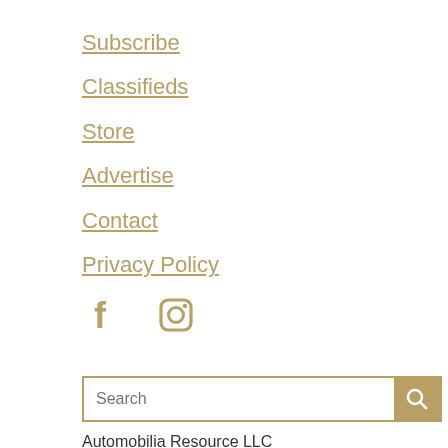Subscribe
Classifieds
Store
Advertise
Contact
Privacy Policy
[Figure (other): Social media icons: Facebook and Instagram, in gold/tan color]
Search
Automobilia Resource LLC
1217 Cape Coral Pkwy East #178
Cape Coral Florida 33904